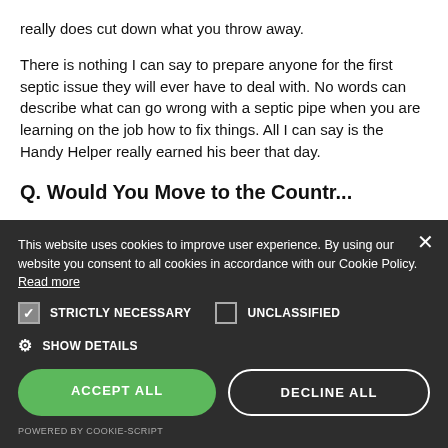really does cut down what you throw away.
There is nothing I can say to prepare anyone for the first septic issue they will ever have to deal with. No words can describe what can go wrong with a septic pipe when you are learning on the job how to fix things. All I can say is the Handy Helper really earned his beer that day.
Q. Would You Move to the Country??
[Figure (screenshot): Cookie consent banner overlay on dark background with options: Strictly Necessary (checked), Unclassified (unchecked), Show Details, Accept All button (green), Decline All button (outline), and Powered by Cookie-Script footer.]